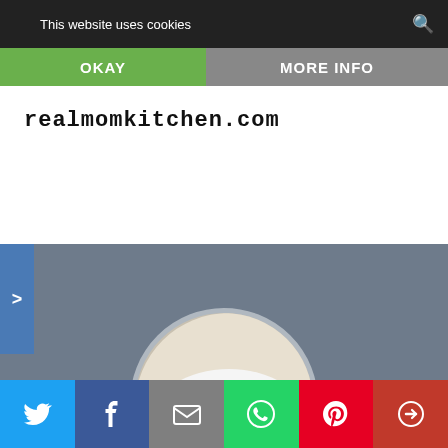This website uses cookies
OKAY
MORE INFO
[Figure (screenshot): realmomkitchen.com banner logo with waffle and strawberry food image in background]
[Figure (photo): Circular cropped photo of a waffle topped with fresh strawberries and whipped cream, served on a white plate with bacon in background]
lemon sour cream waffles
[Figure (infographic): Social sharing bar at bottom with Twitter, Facebook, Email, WhatsApp, Pinterest, and More buttons]